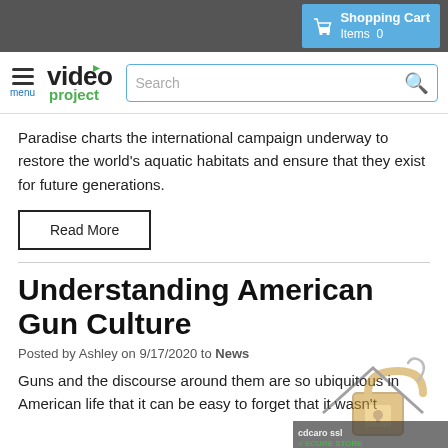Shopping Cart Items 0
[Figure (logo): Video Project logo with hamburger menu and search bar]
Paradise charts the international campaign underway to restore the world's aquatic habitats and ensure that they exist for future generations.
Read More
Understanding American Gun Culture
Posted by Ashley on 9/17/2020 to News
Guns and the discourse around them are so ubiquitous in American life that it can be easy to forget that it wasn't